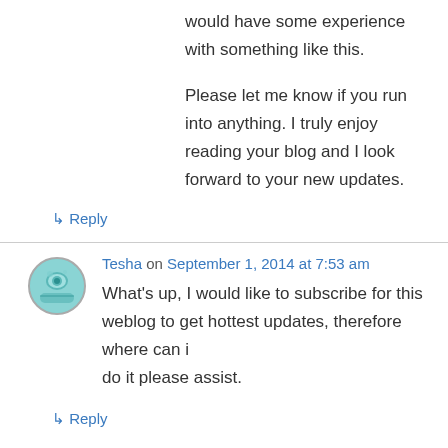would have some experience with something like this.
Please let me know if you run into anything. I truly enjoy reading your blog and I look forward to your new updates.
↳ Reply
Tesha on September 1, 2014 at 7:53 am
What's up, I would like to subscribe for this weblog to get hottest updates, therefore where can i do it please assist.
↳ Reply